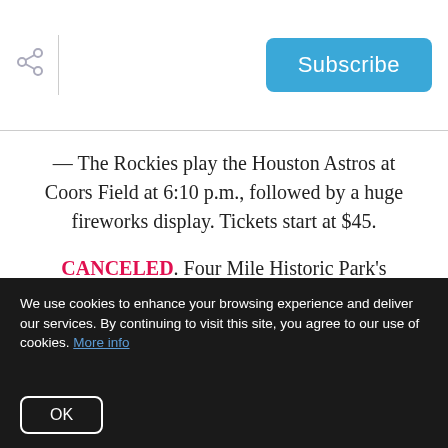Subscribe
— The Rockies play the Houston Astros at Coors Field at 6:10 p.m., followed by a huge fireworks display. Tickets start at $45.
CANCELED. Four Mile Historic Park's Independence Day Celebration – From 5 p.m. to 10 p.m., delight in live music, pioneer games, food trucks, face painting, a demonstration by the 1st Colorado
We use cookies to enhance your browsing experience and deliver our services. By continuing to visit this site, you agree to our use of cookies. More info
OK